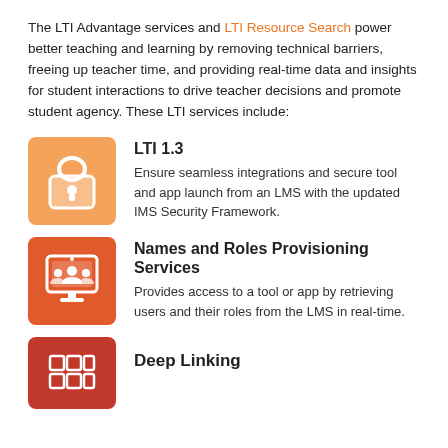The LTI Advantage services and LTI Resource Search power better teaching and learning by removing technical barriers, freeing up teacher time, and providing real-time data and insights for student interactions to drive teacher decisions and promote student agency. These LTI services include:
[Figure (illustration): Orange padlock icon on orange rounded square background representing LTI 1.3]
LTI 1.3
Ensure seamless integrations and secure tool and app launch from an LMS with the updated IMS Security Framework.
[Figure (illustration): Red-orange icon with monitor and three users representing Names and Roles Provisioning Services]
Names and Roles Provisioning Services
Provides access to a tool or app by retrieving users and their roles from the LMS in real-time.
[Figure (illustration): Dark red icon with books/grid representing Deep Linking]
Deep Linking